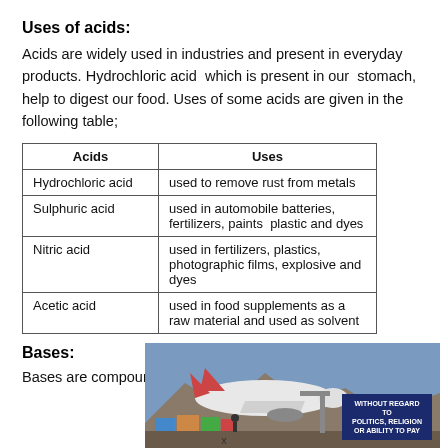Uses of acids:
Acids are widely used in industries and present in everyday products. Hydrochloric acid  which is present in our  stomach, help to digest our food. Uses of some acids are given in the following table;
| Acids | Uses |
| --- | --- |
| Hydrochloric acid | used to remove rust from metals |
| Sulphuric acid | used in automobile batteries, fertilizers, paints  plastic and dyes |
| Nitric acid | used in fertilizers, plastics, photographic films, explosive and dyes |
| Acetic acid | used in food supplements as a raw material and used as solvent |
Bases:
Bases are compounds which contain oxygen or  oxygen
[Figure (photo): Cargo airplane being loaded with freight, with a banner overlay reading 'WITHOUT REGARD TO POLITICS, RELIGION OR ABILITY TO PAY']